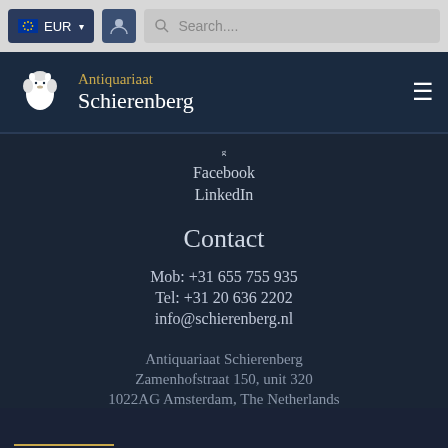[Figure (screenshot): Top navigation bar with EUR currency selector, user icon, and search bar]
[Figure (logo): Antiquariaat Schierenberg logo with lion icon on dark navy background]
Facebook
LinkedIn
Contact
Mob: +31 655 755 935
Tel: +31 20 636 2202
info@schierenberg.nl
Antiquariaat Schierenberg
Zamenhofstraat 150, unit 320
1022AG Amsterdam, The Netherlands